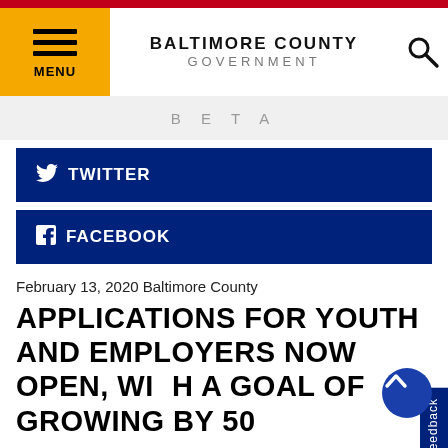BALTIMORE COUNTY GOVERNMENT
BETA
TWITTER
FACEBOOK
Feedback
February 13, 2020 Baltimore County
APPLICATIONS FOR YOUTH AND EMPLOYERS NOW OPEN, WITH A GOAL OF GROWING BY 50